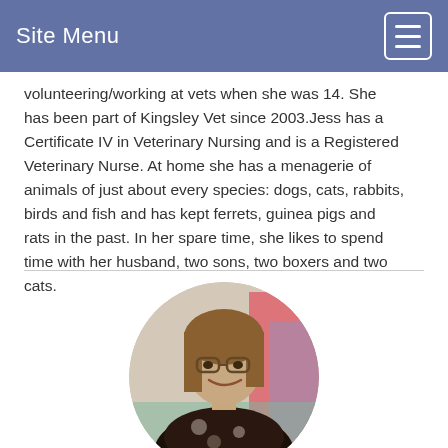Site Menu
volunteering/working at vets when she was 14. She has been part of Kingsley Vet since 2003.Jess has a Certificate IV in Veterinary Nursing and is a Registered Veterinary Nurse. At home she has a menagerie of animals of just about every species: dogs, cats, rabbits, birds and fish and has kept ferrets, guinea pigs and rats in the past. In her spare time, she likes to spend time with her husband, two sons, two boxers and two cats.
[Figure (photo): Circular profile photo of Sue Costa, a woman with glasses and long hair, wearing a dark floral shirt, smiling.]
Sue Costa
Registered Veterinary Nurse (RVN)